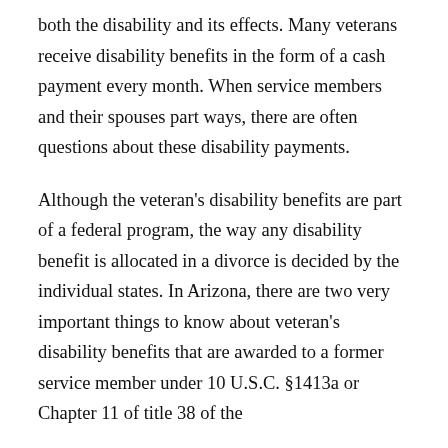both the disability and its effects. Many veterans receive disability benefits in the form of a cash payment every month. When service members and their spouses part ways, there are often questions about these disability payments.
Although the veteran's disability benefits are part of a federal program, the way any disability benefit is allocated in a divorce is decided by the individual states. In Arizona, there are two very important things to know about veteran's disability benefits that are awarded to a former service member under 10 U.S.C. §1413a or Chapter 11 of title 38 of the